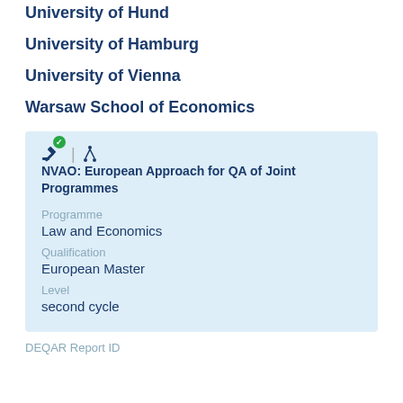University of Hund
University of Hamburg
University of Vienna
Warsaw School of Economics
NVAO: European Approach for QA of Joint Programmes
Programme
Law and Economics
Qualification
European Master
Level
second cycle
DEQAR Report ID